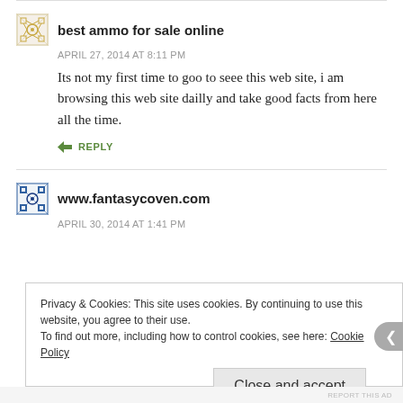best ammo for sale online
APRIL 27, 2014 AT 8:11 PM
Its not my first time to goo to seee this web site, i am browsing this web site dailly and take good facts from here all the time.
REPLY
www.fantasycoven.com
APRIL 30, 2014 AT 1:41 PM
Privacy & Cookies: This site uses cookies. By continuing to use this website, you agree to their use. To find out more, including how to control cookies, see here: Cookie Policy
Close and accept